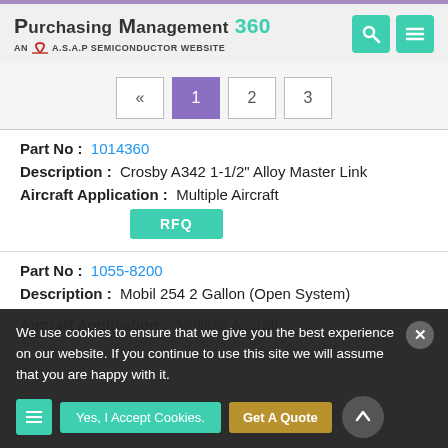Purchasing Management 360 — AN A.S.A.P SEMICONDUCTOR WEBSITE
« 1 2 3 (pagination)
Part No: 1014360
Description: Crosby A342 1-1/2" Alloy Master Link
Aircraft Application: Multiple Aircraft
RFQ
Part No: 1055-8200
Description: Mobil 254 2 Gallon (Open System)
Aircraft Application: Multiple Aircraft
We use cookies to ensure that we give you the best experience on our website. If you continue to use this site we will assume that you are happy with it.
Yes, I Accept Cookies.
Get A Quote